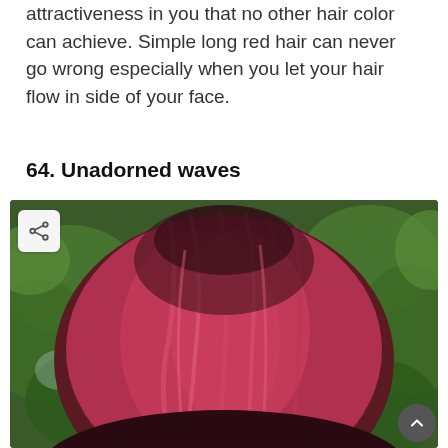attractiveness in you that no other hair color can achieve. Simple long red hair can never go wrong especially when you let your hair flow in side of your face.
64. Unadorned waves
[Figure (photo): Back view of a person with wavy reddish-pink/burgundy hair, with green leafy background. A share icon button is visible in the top-left corner of the image and an up-arrow button in the bottom-right corner.]